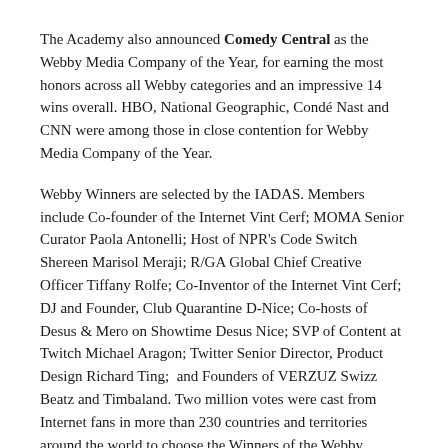The Academy also announced Comedy Central as the Webby Media Company of the Year, for earning the most honors across all Webby categories and an impressive 14 wins overall. HBO, National Geographic, Condé Nast and CNN were among those in close contention for Webby Media Company of the Year.
Webby Winners are selected by the IADAS. Members include Co-founder of the Internet Vint Cerf; MOMA Senior Curator Paola Antonelli; Host of NPR's Code Switch Shereen Marisol Meraji; R/GA Global Chief Creative Officer Tiffany Rolfe; Co-Inventor of the Internet Vint Cerf; DJ and Founder, Club Quarantine D-Nice; Co-hosts of Desus & Mero on Showtime Desus Nice; SVP of Content at Twitch Michael Aragon; Twitter Senior Director, Product Design Richard Ting;  and Founders of VERZUZ Swizz Beatz and Timbaland. Two million votes were cast from Internet fans in more than 230 countries and territories around the world to choose the Winners of the Webby People's Voice Awards.